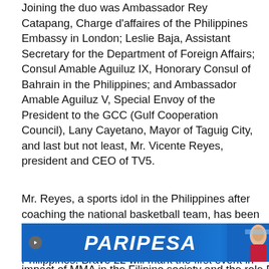Joining the duo was Ambassador Rey Catapang, Charge d'affaires of the Philippines Embassy in London; Leslie Baja, Assistant Secretary for the Department of Foreign Affairs; Consul Amable Aguiluz IX, Honorary Consul of Bahrain in the Philippines; and Ambassador Amable Aguiluz V, Special Envoy of the President to the GCC (Gulf Cooperation Council), Lany Cayetano, Mayor of Taguig City, and last but not least, Mr. Vicente Reyes, president and CEO of TV5.
Mr. Reyes, a sports idol in the Philippines after coaching the national basketball team, has been one of Brave's biggest enthusiasts after TV5 and Brave signed a deal for broadcasting in the Philippines. Brave 22 will mark the first event in the partnership and will be available in the entire country through TV5's sports channel ESPN5.
[Figure (photo): PARIPESA advertisement banner with blue background and woman figure on right side]
impact of MMA in the Filipino society and the role Brav...